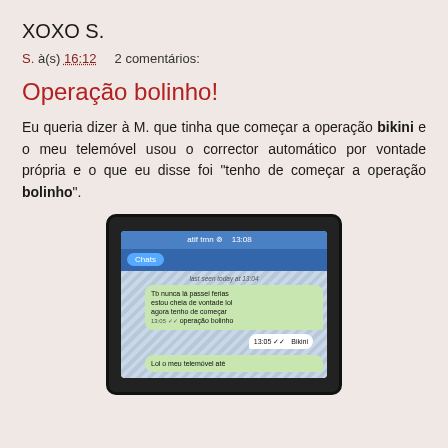XOXO S.
S. à(s) 16:12    2 comentários:
Operação bolinho!
Eu queria dizer à M. que tinha que começar a operação bikini e o meu telemóvel usou o corrector automático por vontade própria e o que eu disse foi "tenho de começar a operação bolinho".
[Figure (photo): Photo of an iPhone screen showing a text message conversation where the word 'operação bolinho' appears in a sent message bubble, followed by a received reply 'Bikini' and another sent message 'Lol o meu telemóvel até']